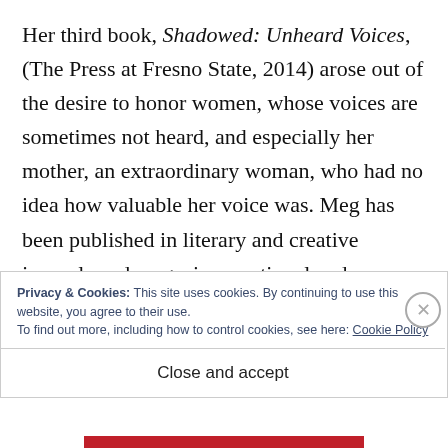Her third book, Shadowed: Unheard Voices, (The Press at Fresno State, 2014) arose out of the desire to honor women, whose voices are sometimes not heard, and especially her mother, an extraordinary woman, who had no idea how valuable her voice was. Meg has been published in literary and creative journals and magazines, national and international, and likes to think she makes a difference in an often indifferent world.
Privacy & Cookies: This site uses cookies. By continuing to use this website, you agree to their use. To find out more, including how to control cookies, see here: Cookie Policy
Close and accept